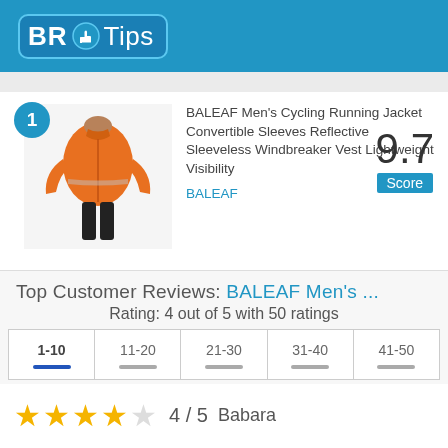[Figure (logo): BR Tips logo with thumbs-up icon on blue background]
1
[Figure (photo): Person wearing orange cycling jacket viewed from behind]
BALEAF Men's Cycling Running Jacket Convertible Sleeves Reflective Sleeveless Windbreaker Vest Lightweight Visibility
BALEAF
9.7
Score
Top Customer Reviews: BALEAF Men's ...
Rating: 4 out of 5 with 50 ratings
| 1-10 | 11-20 | 21-30 | 31-40 | 41-50 |
| --- | --- | --- | --- | --- |
| — | — | — | — | — |
★ ★ ★ ★ ☆  4 / 5  Babara